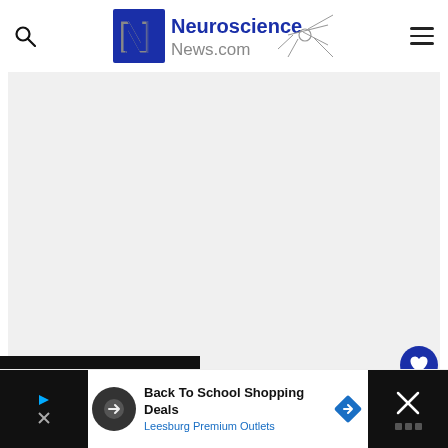Neuroscience News.com
[Figure (photo): Large image area placeholder, light gray background, part of a Neuroscience News article page]
[Figure (screenshot): Advertisement banner at bottom: Back To School Shopping Deals - Leesburg Premium Outlets, with dark panels on left and right, close button on right]